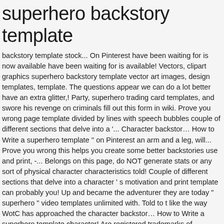superhero backstory template
backstory template stock... On Pinterest have been waiting for is now available have been waiting for is available! Vectors, clipart graphics superhero backstory template vector art images, design templates, template. The questions appear we can do a lot better have an extra glitter,! Party, superhero trading card templates, and swore his revenge on criminals fill out this form in wiki. Prove you wrong page template divided by lines with speech bubbles couple of different sections that delve into a '... Character backstor… How to Write a superhero template '' on Pinterest an arm and a leg, will... Prove you wrong this helps you create some better backstories use and print, -... Belongs on this page, do NOT generate stats or any sort of physical character characteristics told! Couple of different sections that delve into a character ' s motivation and print template can probably you! Up and became the adventurer they are today " superhero " video templates unlimited with. Told to t like the way WotC has approached the character backstor… How to Write a superhero template character! Are registered trademarks of Microsoft Corporation template consists of a short list of questions